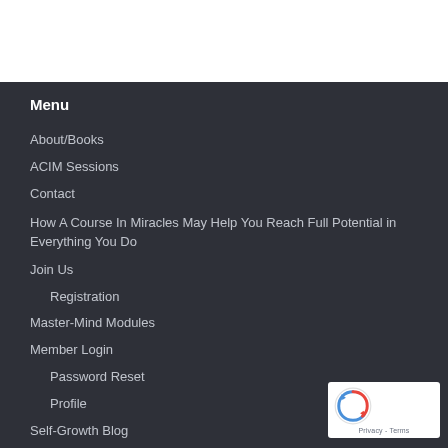Menu
About/Books
ACIM Sessions
Contact
How A Course In Miracles May Help You Reach Full Potential in Everything You Do
Join Us
Registration
Master-Mind Modules
Member Login
Password Reset
Profile
Self-Growth Blog
Self-Growth Sessions
[Figure (logo): reCAPTCHA logo badge with Privacy and Terms text]